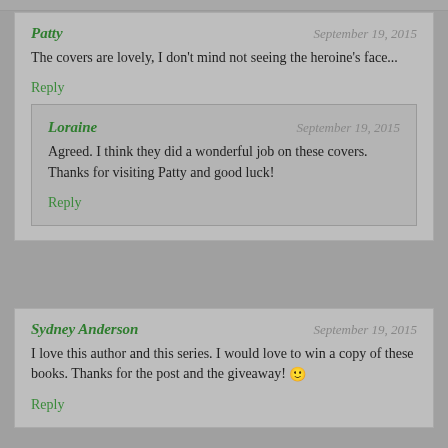Patty — September 19, 2015
The covers are lovely, I don't mind not seeing the heroine's face...
Reply
Loraine — September 19, 2015
Agreed. I think they did a wonderful job on these covers. Thanks for visiting Patty and good luck!
Reply
Sydney Anderson — September 19, 2015
I love this author and this series. I would love to win a copy of these books. Thanks for the post and the giveaway! 🙂
Reply